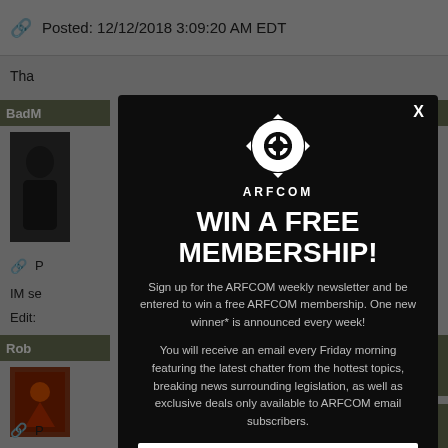Posted: 12/12/2018 3:09:20 AM EDT
Tha…
BadM…
P…
IM se…
Edit:…
Rob…
[Figure (screenshot): ARFCOM modal popup overlay on a forum page. The modal has a dark/black background with the ARFCOM gear logo at top, displaying 'WIN A FREE MEMBERSHIP!' in large white bold text. Below is text: 'Sign up for the ARFCOM weekly newsletter and be entered to win a free ARFCOM membership. One new winner* is announced every week!' followed by 'You will receive an email every Friday morning featuring the latest chatter from the hottest topics, breaking news surrounding legislation, as well as exclusive deals only available to ARFCOM email subscribers.' An X close button is in the top right corner, and an email input field appears at the bottom.]